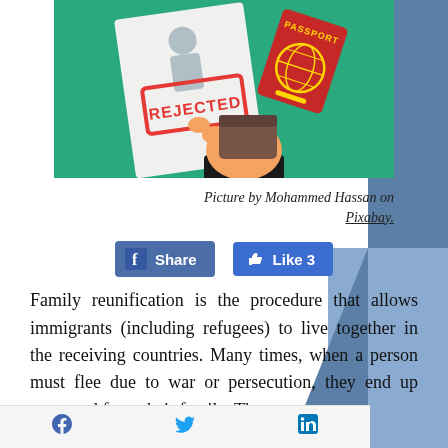[Figure (illustration): Illustration showing a hand holding a brown wallet/passport next to a document stamped REJECTED in red, and a red passport book in the upper right, on a teal/green background.]
Picture by Mohammed Hassan on Pixabay.
Share   Like 3
Family reunification is the procedure that allows immigrants (including refugees) to live together in the receiving countries. Many times, when a person must flee due to war or persecution, they end up separated from their family. Thus,